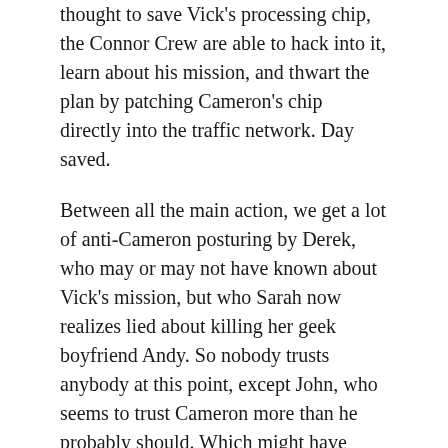thought to save Vick's processing chip, the Connor Crew are able to hack into it, learn about his mission, and thwart the plan by patching Cameron's chip directly into the traffic network. Day saved.
Between all the main action, we get a lot of anti-Cameron posturing by Derek, who may or may not have known about Vick's mission, but who Sarah now realizes lied about killing her geek boyfriend Andy. So nobody trusts anybody at this point, except John, who seems to trust Cameron more than he probably should. Which might have something to do with the fact that he seemed ready to kiss her as he slid that processor chip back into her hole (DIRTY!). Which begins to make me wonder — just what kind of relationship do these two have in the future???